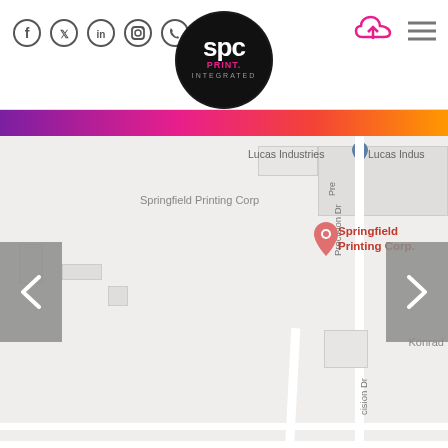[Figure (logo): SPC Print Integrated circular black logo with white text]
[Figure (infographic): Navigation header with social media icons (Facebook, Twitter, LinkedIn, Instagram, Phone), SPC Print Integrated logo centered, upload icon and hamburger menu on right, magenta-to-orange gradient bar below header, Google Maps view showing Springfield Printing Corp location with pin marker, street Precision Dr visible, Lucas Industries label visible, Konrad label partially visible, left and right navigation arrows on sides of map]